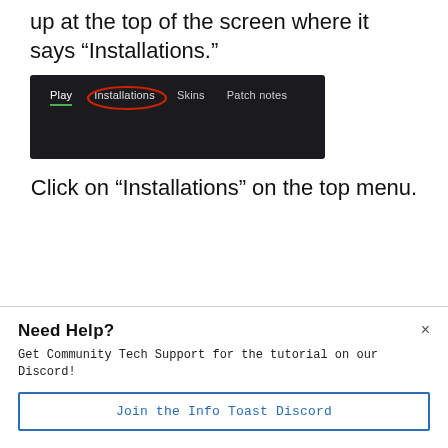up at the top of the screen where it says “Installations.”
[Figure (screenshot): Screenshot of a game launcher top menu bar showing: Play, Installations (circled in red), Skins, Patch notes]
Click on “Installations” on the top menu.
Need Help?
Get Community Tech Support for the tutorial on our Discord!
Join the Info Toast Discord